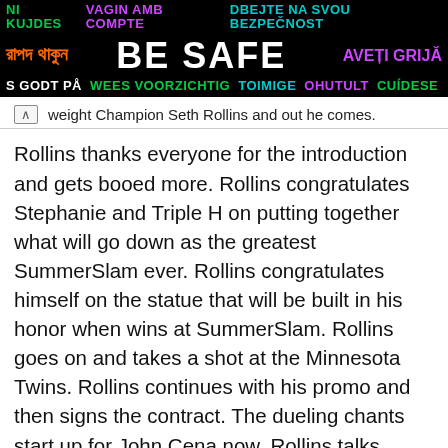[Figure (other): Multilingual 'BE SAFE' banner with colorful text in various languages on black background, including phrases: NI KUJDES, VAGIN AMB COMPTE, DBEJTE NA SVOU BEZPEČNOST, রাপদ থাকুন, BE SAFE, AVEȚI GRIJĂ, S GODT PÅ, WEES VOORZICHTIG, TOIMIGE OHUTULT, CUÍDESE]
weight Champion Seth Rollins and out he comes.
Rollins thanks everyone for the introduction and gets booed more. Rollins congratulates Stephanie and Triple H on putting together what will go down as the greatest SummerSlam ever. Rollins congratulates himself on the statue that will be built in his honor when wins at SummerSlam. Rollins goes on and takes a shot at the Minnesota Twins. Rollins continues with his promo and then signs the contract. The dueling chants start up for John Cena now. Rollins talks about how Cena has held WWE hostage for 10 years but that stops on Sunday. He calls Cena a disease. Rollins says when he broke Cena's nose, that began the process to free the entire WWE Universe from Cena. He says Cena is the disease but he's